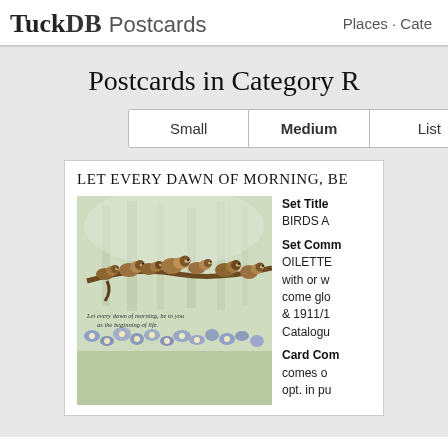TuckDB Postcards  Places · Cate
Postcards in Category R
Small  Medium  List
LET EVERY DAWN OF MORNING, BE
[Figure (illustration): Vintage postcard illustration of sparrows perched on a branch surrounded by blue flowers in a woodland setting. Caption reads: Let every dawn of morning, be to you as the beginning of life.]
Set Title BIRDS A Set Comment OILETTE with or w come glo & 1911/1 Catalogu Card Com comes o opt. in pu